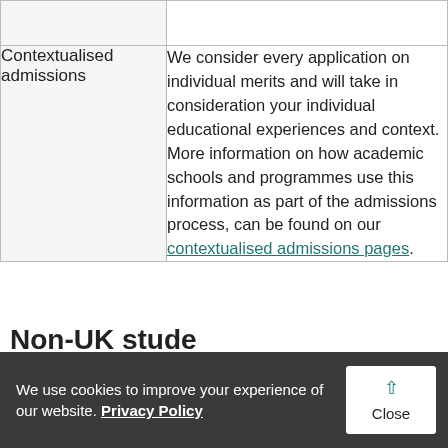|  |  |
| --- | --- |
|  |  |
| Contextualised admissions | We consider every application on individual merits and will take in consideration your individual educational experiences and context. More information on how academic schools and programmes use this information as part of the admissions process, can be found on our contextualised admissions pages. |
Non-UK students
We use cookies to improve your experience of our website. Privacy Policy